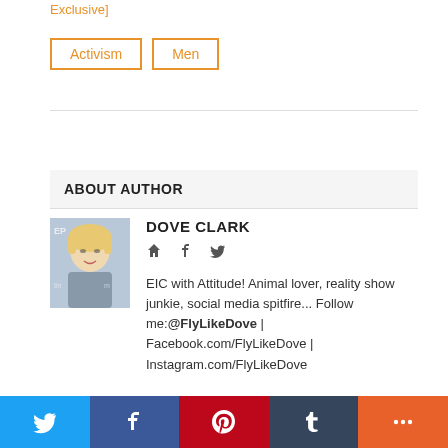Exclusive]
Activism  Men
ABOUT AUTHOR
DOVE CLARK
EIC with Attitude! Animal lover, reality show junkie, social media spitfire... Follow me:@FlyLikeDove | Facebook.com/FlyLikeDove | Instagram.com/FlyLikeDove
[Figure (photo): Headshot photo of Dove Clark, a blonde woman smiling]
Twitter | Facebook | Pinterest | Tumblr | More